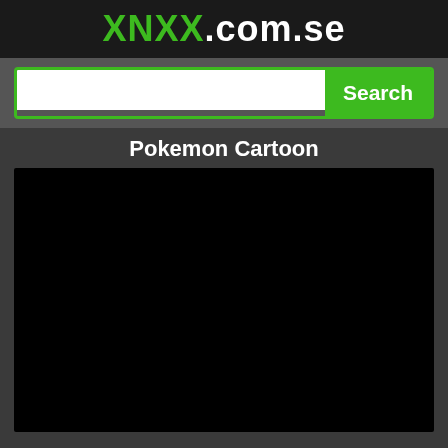XNXX.com.se
[Figure (screenshot): Search bar with green border and Search button]
Pokemon Cartoon
[Figure (screenshot): Black video player area]
31K views • 1 years ago
👍 220   👎 77